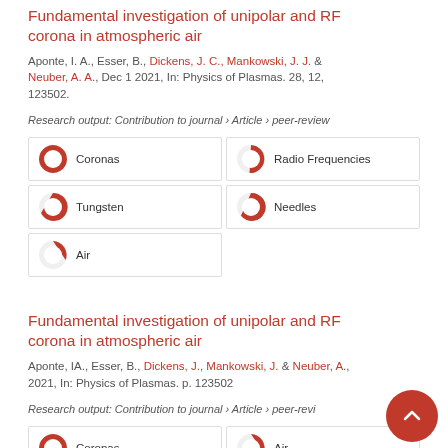Fundamental investigation of unipolar and RF corona in atmospheric air
Aponte, I. A., Esser, B., Dickens, J. C., Mankowski, J. J. & Neuber, A. A., Dec 1 2021, In: Physics of Plasmas. 28, 12, 123502.
Research output: Contribution to journal › Article › peer-review
[Figure (infographic): Keyword badges: Coronas 100%, Radio Frequencies 91%, Tungsten 80%, Needles 71%, Air 62%]
Fundamental investigation of unipolar and RF corona in atmospheric air
Aponte, IA., Esser, B., Dickens, J., Mankowski, J. & Neuber, A., 2021, In: Physics of Plasmas. p. 123502
Research output: Contribution to journal › Article › peer-review
[Figure (infographic): Keyword badges: Coronas 100%, Air 62%]